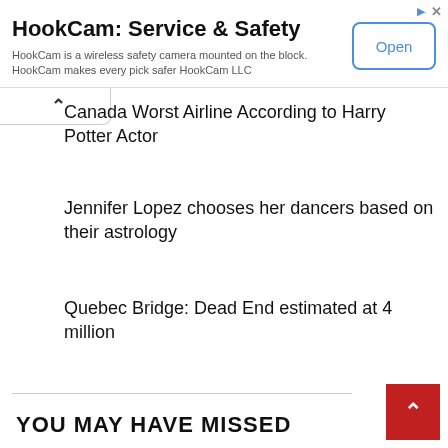[Figure (screenshot): Advertisement banner for HookCam: Service & Safety app with Open button]
Canada Worst Airline According to Harry Potter Actor
Jennifer Lopez chooses her dancers based on their astrology
Quebec Bridge: Dead End estimated at 4 million
YOU MAY HAVE MISSED